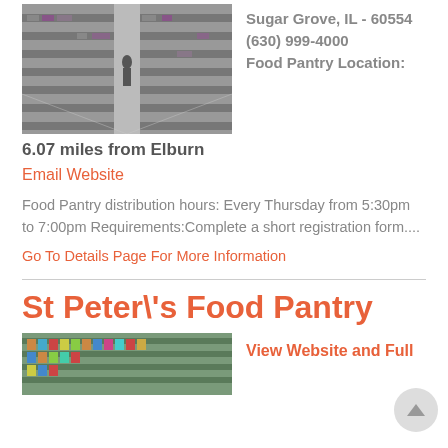[Figure (photo): Black and white photo of a warehouse/storage facility interior with shelving and a person in the background]
Sugar Grove, IL - 60554
(630) 999-4000
Food Pantry Location:
6.07 miles from Elburn
Email Website
Food Pantry distribution hours: Every Thursday from 5:30pm to 7:00pm Requirements:Complete a short registration form....
Go To Details Page For More Information
St Peter\'s Food Pantry
[Figure (photo): Color photo of a food pantry shelf with products]
View Website and Full